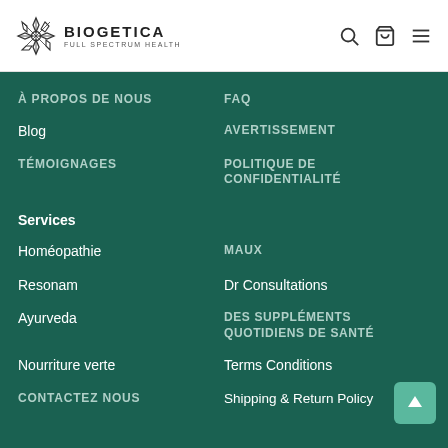BIOGETICA FULL SPECTRUM HEALTH
À PROPOS DE NOUS
FAQ
Blog
AVERTISSEMENT
TÉMOIGNAGES
POLITIQUE DE CONFIDENTIALITÉ
Services
Homéopathie
MAUX
Resonam
Dr Consultations
Ayurveda
DES SUPPLÉMENTS QUOTIDIENS DE SANTÉ
Nourriture verte
Terms Conditions
CONTACTEZ NOUS
Shipping & Return Policy